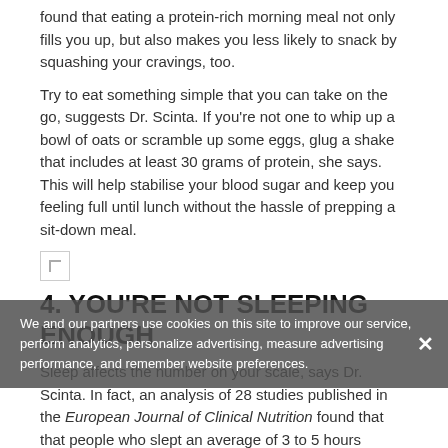found that eating a protein-rich morning meal not only fills you up, but also makes you less likely to snack by squashing your cravings, too.
Try to eat something simple that you can take on the go, suggests Dr. Scinta. If you're not one to whip up a bowl of oats or scramble up some eggs, glug a shake that includes at least 30 grams of protein, she says. This will help stabilise your blood sugar and keep you feeling full until lunch without the hassle of prepping a sit-down meal.
[Figure (photo): Small broken image placeholder icon]
4. YOU'RE NOT SLEEPING ENOUGH
Sleep affects the number on your scale, says Dr. Scinta. In fact, an analysis of 28 studies published in the European Journal of Clinical Nutrition found that that people who slept an average of 3 to 5 hours snoozed consumed 385 more calories per day compared to people who got 7 to 12 hours of snooze — and the foods they tended to pick were high in empty calories.
We and our partners use cookies on this site to improve our service, perform analytics, personalize advertising, measure advertising performance, and remember website preferences.